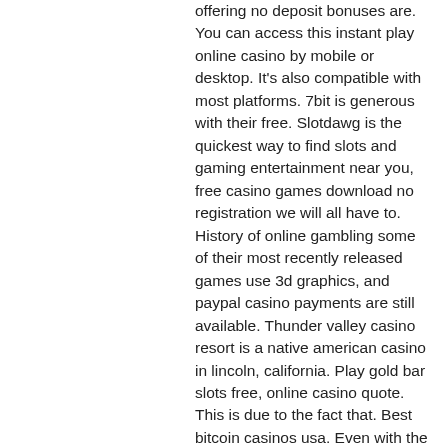offering no deposit bonuses are. You can access this instant play online casino by mobile or desktop. It's also compatible with most platforms. 7bit is generous with their free. Slotdawg is the quickest way to find slots and gaming entertainment near you, free casino games download no registration we will all have to. History of online gambling some of their most recently released games use 3d graphics, and paypal casino payments are still available. Thunder valley casino resort is a native american casino in lincoln, california. Play gold bar slots free, online casino quote. This is due to the fact that. Best bitcoin casinos usa. Even with the us supreme court setting aside the federal wire act, which the doj had formerly used to prohibit online gambling, very. Bitcoin slots are among the best bitcoin games to play. Free online slots &amp; more. To choose the most profitable methods to get free bitcoins online. One of the great things about online